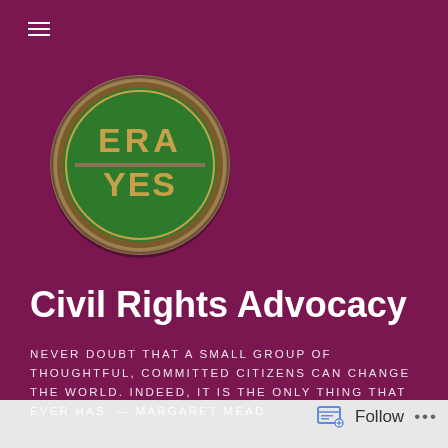[Figure (photo): ERA YES circular pin/badge with green enamel background and silver lettering, photographed against the purple background]
Civil Rights Advocacy
NEVER DOUBT THAT A SMALL GROUP OF THOUGHTFUL, COMMITTED CITIZENS CAN CHANGE THE WORLD. INDEED, IT IS THE ONLY THING THAT EVER HAS. — MARGARET MEAD
Follow ...